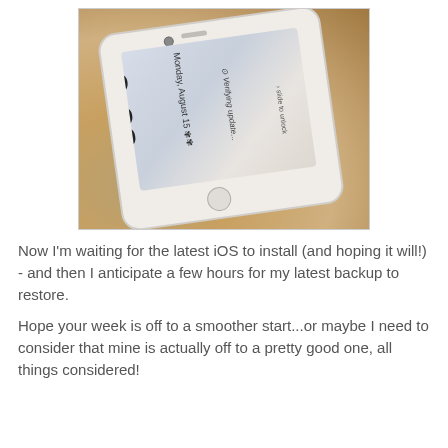[Figure (photo): A white iPhone lying on a granite countertop, with the lock screen visible showing time 3:38, date Monday August 15, and a 'Verifying update...' notification. The phone is photographed at an angle.]
Now I'm waiting for the latest iOS to install (and hoping it will!) - and then I anticipate a few hours for my latest backup to restore.
Hope your week is off to a smoother start...or maybe I need to consider that mine is actually off to a pretty good one, all things considered!